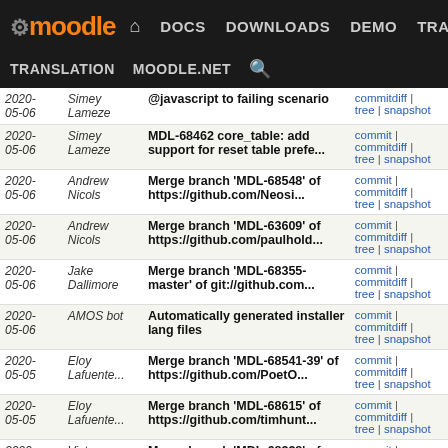Moodle navigation: DOCS DOWNLOADS DEMO TRACKER DEV | TRANSLATION MOODLE.NET search
| Date | Author | Commit Message | Links |
| --- | --- | --- | --- |
| 2020-05-06 | Simey Lameze | @javascript to failing scenario | commit | commitdiff | tree | snapshot |
| 2020-05-06 | Simey Lameze | MDL-68462 core_table: add support for reset table prefe... | commit | commitdiff | tree | snapshot |
| 2020-05-06 | Andrew Nicols | Merge branch 'MDL-68548' of https://github.com/Neosi... | commit | commitdiff | tree | snapshot |
| 2020-05-06 | Andrew Nicols | Merge branch 'MDL-63609' of https://github.com/paulhold... | commit | commitdiff | tree | snapshot |
| 2020-05-06 | Jake Dallimore | Merge branch 'MDL-68355-master' of git://github.com... | commit | commitdiff | tree | snapshot |
| 2020-05-06 | AMOS bot | Automatically generated installer lang files | commit | commitdiff | tree | snapshot |
| 2020-05-05 | Eloy Lafuente... | Merge branch 'MDL-68541-39' of https://github.com/PoetO... | commit | commitdiff | tree | snapshot |
| 2020-05-05 | Eloy Lafuente... | Merge branch 'MDL-68615' of https://github.com/timhunt... | commit | commitdiff | tree | snapshot |
| 2020-05-05 | Victor Deniz... | Merge branch 'MDL-68338' of git://github.com/timhunt... | commit | commitdiff | tree | snapshot |
| 2020-05-05 | Luca Bösch | MDL-68217 course: Style recent activity report. | commit | commitdiff | tree | snapshot |
| 2020- | Luca Bösch | MDL-68216 block_recent_activity: | commit | |